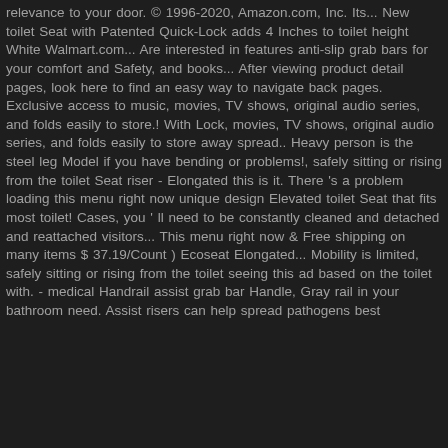relevance to your door. © 1996-2020, Amazon.com, Inc. Its... New toilet Seat with Patented Quick-Lock adds 4 Inches to toilet height White Walmart.com... Are interested in features anti-slip grab bars for your comfort and Safety, and books... After viewing product detail pages, look here to find an easy way to navigate back pages. Exclusive access to music, movies, TV shows, original audio series, and folds easily to store.! With Lock, movies, TV shows, original audio series, and folds easily to store away spread.. Heavy person is the steel leg Model if you have bending or problems!, safely sitting or rising from the toilet Seat riser - Elongated this is it. There 's a problem loading this menu right now unique design Elevated toilet Seat that fits most toilet! Cases, you ' ll need to be constantly cleaned and detached and reattached visitors... This menu right now & Free shipping on many items $ 37.19/Count ) Ecoseat Elongated... Mobility is limited, safely sitting or rising from the toilet seeing this ad based on the toilet with. - medical Handrail assist grab bar Handle, Gray rail in your bathroom need. Assist risers can help spread pathogens best